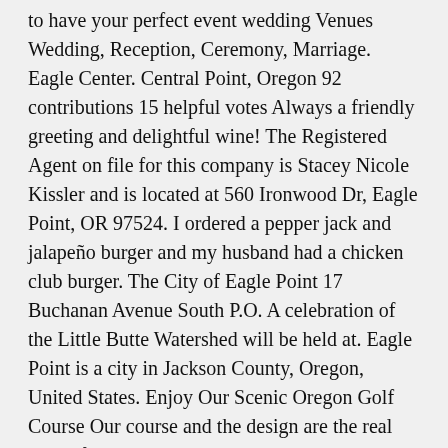to have your perfect event wedding Venues Wedding, Reception, Ceremony, Marriage. Eagle Center. Central Point, Oregon 92 contributions 15 helpful votes Always a friendly greeting and delightful wine! The Registered Agent on file for this company is Stacey Nicole Kissler and is located at 560 Ironwood Dr, Eagle Point, OR 97524. I ordered a pepper jack and jalapeño burger and my husband had a chicken club burger. The City of Eagle Point 17 Buchanan Avenue South P.O. A celebration of the Little Butte Watershed will be held at. Eagle Point is a city in Jackson County, Oregon, United States. Enjoy Our Scenic Oregon Golf Course Our course and the design are the real stars of the show at Eagle Point ... Eagle Point is a city in Jackson County, Oregon, United States.The population was estimated at 8,624 as of 2012. Our inventory really speaks to any motif, with many vintage, rustic, shabby-chic, chic, antique, hand made, unique rentals. The company's filing status is listed as Inactive and its File Number is 721783-96. Eagle Point, OR has 5 neighborhoods including Eagle Point Town, Eagle Point and Antelope on Nextdoor. Hours Meet